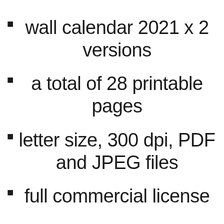wall calendar 2021 x 2 versions
a total of 28 printable pages
letter size, 300 dpi, PDF and JPEG files
full commercial license